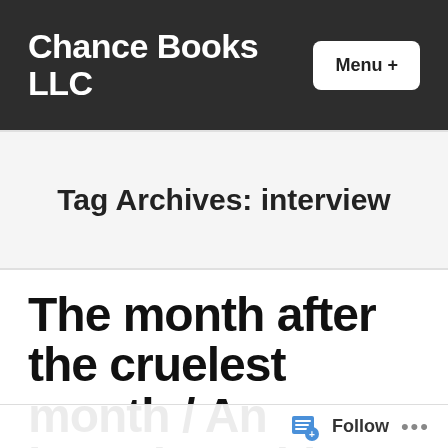Chance Books LLC
Tag Archives: interview
The month after the cruelest month / An interview with poet Anne Barngrover